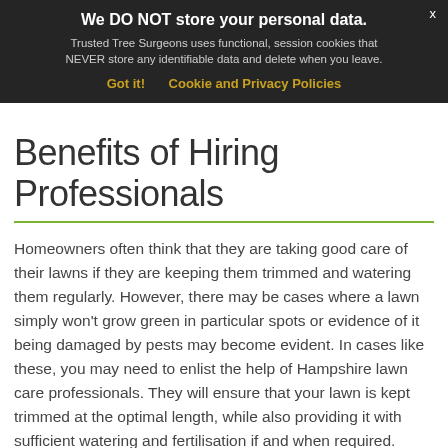We DO NOT store your personal data. Trusted Tree Surgeons uses functional, session cookies that NEVER store any identifiable data and delete when you leave. Got it! Cookie and Privacy Policies
Benefits of Hiring Professionals
Homeowners often think that they are taking good care of their lawns if they are keeping them trimmed and watering them regularly. However, there may be cases where a lawn simply won't grow green in particular spots or evidence of it being damaged by pests may become evident. In cases like these, you may need to enlist the help of Hampshire lawn care professionals. They will ensure that your lawn is kept trimmed at the optimal length, while also providing it with sufficient watering and fertilisation if and when required.